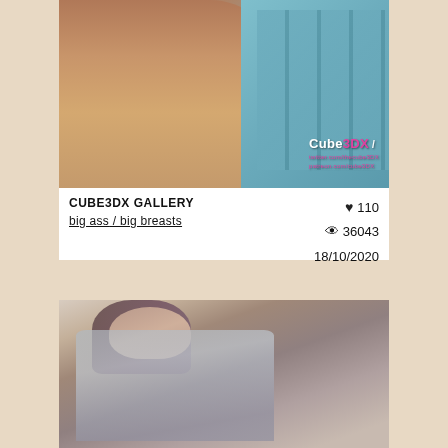[Figure (illustration): 3D rendered illustration showing lower body of a female figure near lockers, with Cube3DX watermark]
CUBE3DX GALLERY
big ass / big breasts
♥ 110
👁 36043
18/10/2020
[Figure (illustration): 3D rendered illustration showing a dark-haired woman with glasses leaning forward with mouth open, in an office setting]